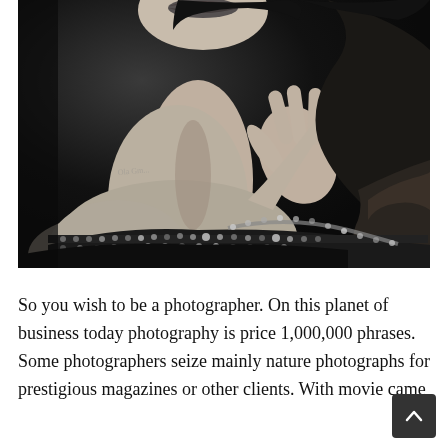[Figure (photo): Black and white portrait photograph of a woman, cropped from chin to chest, with her hand raised gracefully to her neck. She wears a beaded/sequined strapless dress and a fur stole over her right shoulder. Dark background. A faint watermark is visible in the lower-left area of the image.]
So you wish to be a photographer. On this planet of business today photography is price 1,000,000 phrases. Some photographers seize mainly nature photographs for prestigious magazines or other clients. With movie came...